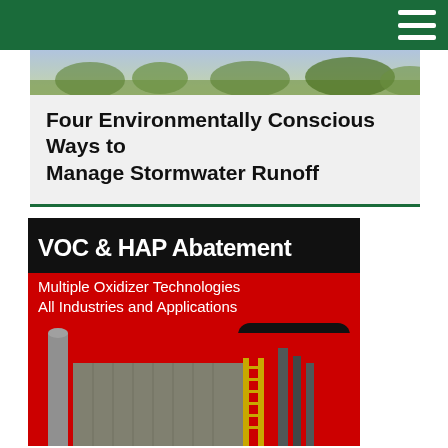[Figure (photo): Partial outdoor photo strip showing vegetation/landscape]
Four Environmentally Conscious Ways to Manage Stormwater Runoff
[Figure (photo): Advertisement for VOC & HAP Abatement - Multiple Oxidizer Technologies, All Industries and Applications. Learn More button. Shows industrial oxidizer equipment building with exhaust stack against red background.]